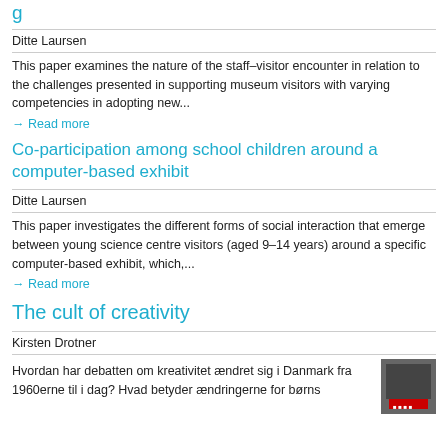Co-participation among school children around a computer-based exhibit
Ditte Laursen
This paper examines the nature of the staff–visitor encounter in relation to the challenges presented in supporting museum visitors with varying competencies in adopting new...
→  Read more
Co-participation among school children around a computer-based exhibit
Ditte Laursen
This paper investigates the different forms of social interaction that emerge between young science centre visitors (aged 9–14 years) around a specific computer-based exhibit, which,...
→  Read more
The cult of creativity
Kirsten Drotner
Hvordan har debatten om kreativitet ændret sig i Danmark fra 1960erne til i dag? Hvad betyder ændringerne for børns